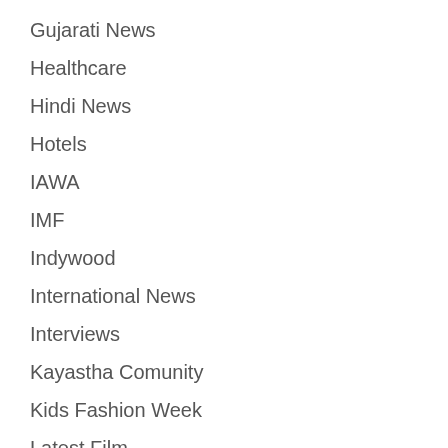Gujarati News
Healthcare
Hindi News
Hotels
IAWA
IMF
Indywood
International News
Interviews
Kayastha Comunity
Kids Fashion Week
Latest Film